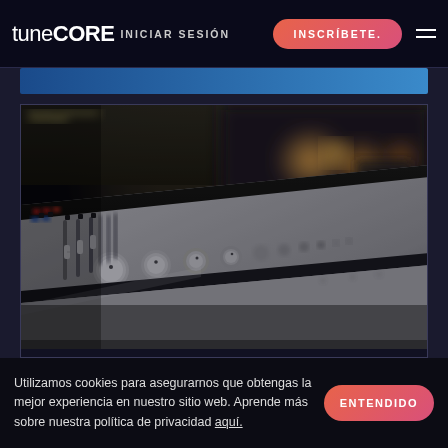TuneCORE  INICIAR SESIÓN  INSCRÍBETE.
[Figure (photo): Close-up photograph of a professional audio mixing console/soundboard in a recording studio, shot at a low angle showing sliders, knobs, and faders in shallow depth of field with warm bokeh lights in background]
Utilizamos cookies para asegurarnos  que obtengas la mejor experiencia en nuestro sitio web. Aprende más sobre nuestra política de privacidad aquí.